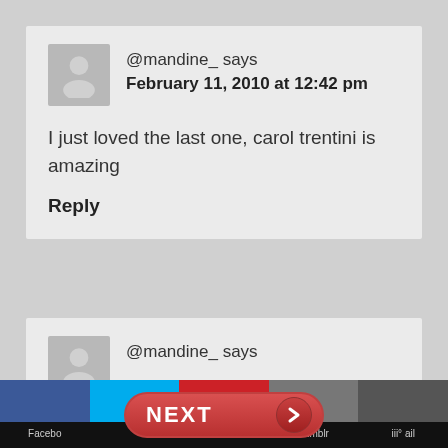@mandine_ says
February 11, 2010 at 12:42 pm
I just loved the last one, carol trentini is amazing
Reply
@mandine_ says
Facebook  NEXT  Tumblr  email